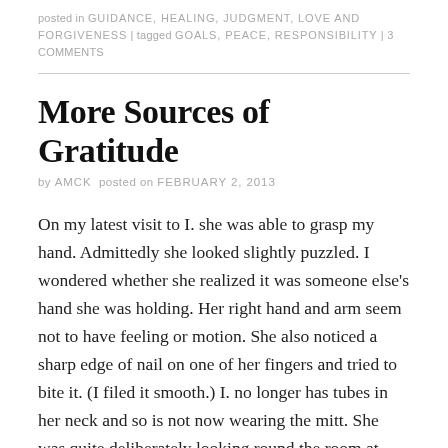posted in GUIDANCE, HEALING, JUDGMENT, LOVE AND FORGIVENESS | tagged GOALS, PEACE, RESPONSIBILITY | 3 COMMENTS
More Sources of Gratitude
by AMCK  posted on FEBRUARY 2, 2013
On my latest visit to I. she was able to grasp my hand. Admittedly she looked slightly puzzled. I wondered whether she realized it was someone else's hand she was holding. Her right hand and arm seem not to have feeling or motion. She also noticed a sharp edge of nail on one of her fingers and tried to bite it. (I filed it smooth.) I. no longer has tubes in her neck and so is not now wearing the mitt. She was quite deliberately looking round the room at times.
I recently had my first real documented Quantum-